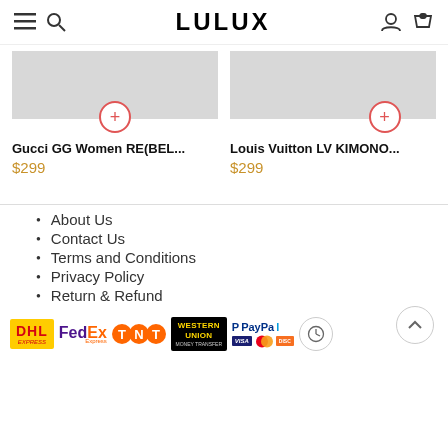LULUX
Gucci GG Women RE(BEL...
$299
Louis Vuitton LV KIMONO...
$299
About Us
Contact Us
Terms and Conditions
Privacy Policy
Return & Refund
[Figure (logo): Payment method logos: DHL Express, FedEx Express, TNT, Western Union, PayPal, Visa, Mastercard, Discover]